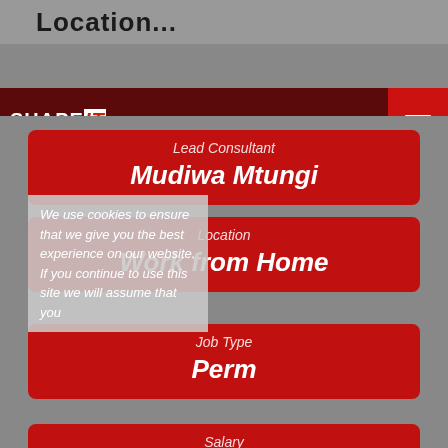Location...
[Figure (logo): SHAPEIT Recruitment logo with SEARCH text and hamburger menu button on dark red navigation bar]
Lead Consultant
Mudiwa Mtungi
Location
Work from Home
We use cookies to ensure that we give you the best experience on our website. If you continue to use this site we will assume that you
Job Type
Perm
Salary
£80000